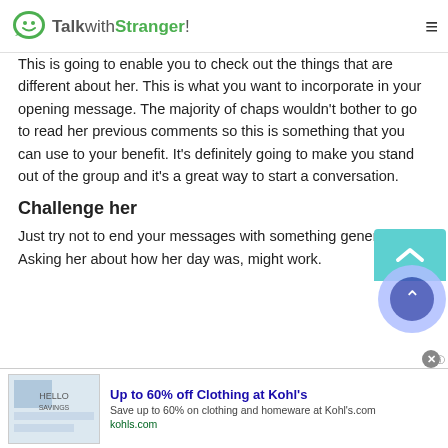TalkwithStranger!
This is going to enable you to check out the things that are different about her. This is what you want to incorporate in your opening message. The majority of chaps wouldn't bother to go to read her previous comments so this is something that you can use to your benefit. It's definitely going to make you stand out of the group and it's a great way to start a conversation.
Challenge her
Just try not to end your messages with something generic. Asking her about how her day was, might work.
[Figure (screenshot): Advertisement banner for Kohl's clothing sale: 'Up to 60% off Clothing at Kohl's. Save up to 60% on clothing and homeware at Kohls.com'. Also shows a scroll-to-top button and a teal overlay element.]